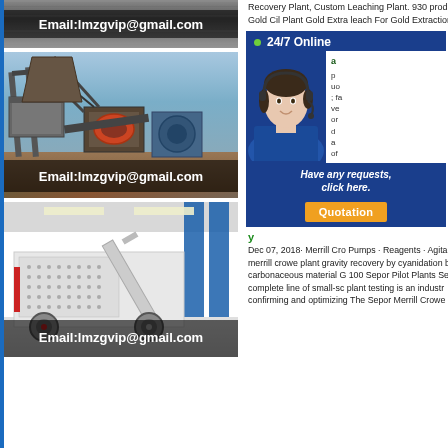[Figure (photo): Dark industrial background with email address overlay showing Email:lmzgvip@gmail.com]
[Figure (photo): Gold ore crushing/conveying equipment outdoors with Email:lmzgvip@gmail.com overlay]
[Figure (photo): Mobile impact crusher machine indoors with Email:lmzgvip@gmail.com overlay]
Recovery Plant, Custom Leaching Plant. 930 prod Gold Cil Plant Gold Extra leach For Gold Extraction
[Figure (infographic): 24/7 Online chat widget with customer service agent photo, 'Have any requests, click here.' text and Quotation button]
Dec 07, 2018· Merrill Cro Pumps · Reagents · Agita merrill crowe plant gravity recovery by cyanidation b carbonaceous material G 100 Sepor Pilot Plants Se complete line of small-sc plant testing is an industr confirming and optimizing The Sepor Merrill Crowe